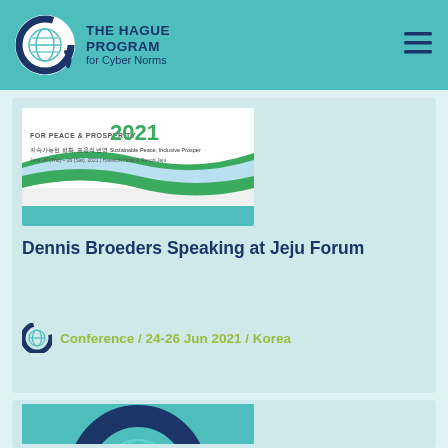THE HAGUE PROGRAM for Cyber Norms
[Figure (logo): The Hague Program for Cyber Norms circular logo with globe and lines in dark blue on white circle]
[Figure (illustration): Jeju Forum 2021 conference banner showing 'FOR PEACE & PROSPERITY 2021' with Korean text, dates June 24-26 2021, Haevichi Hotel & Resort Jeju]
Dennis Broeders Speaking at Jeju Forum
Conference / 24-26 Jun 2021 / Korea
[Figure (logo): The Hague Program for Cyber Norms circular logo on teal background, large format, partial view]